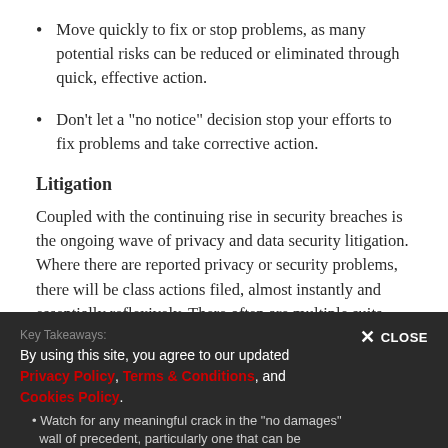Move quickly to fix or stop problems, as many potential risks can be reduced or eliminated through quick, effective action.
Don't let a “no notice” decision stop your efforts to fix problems and take corrective action.
Litigation
Coupled with the continuing rise in security breaches is the ongoing wave of privacy and data security litigation. Where there are reported privacy or security problems, there will be class actions filed, almost instantly and essentially reflexively. There often are multiple suits, with plaintiff class action firms vying to be first in line at the courthouse.
Key Takeaways: By using this site, you agree to our updated Privacy Policy, Terms & Conditions, and Cookies Policy. • Watch for any meaningful crack in the “no damages” wall of precedent, particularly one that can be
By using this site, you agree to our updated Privacy Policy, Terms & Conditions, and Cookies Policy.